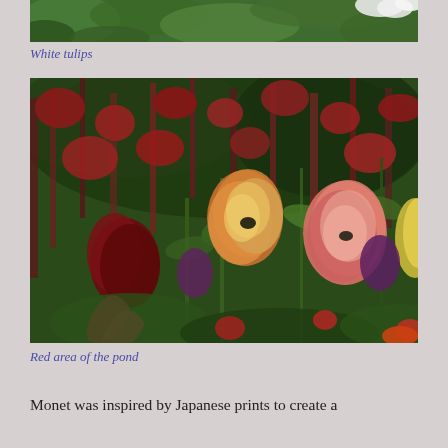[Figure (photo): Top portion of a garden photo showing green foliage and white flowers at the top edge]
White tulips
[Figure (photo): Colorful garden scene with red, pink, orange, and yellow tulips surrounded by dark red flowering plants and green foliage]
Red area of the pond
Monet was inspired by Japanese prints to create a